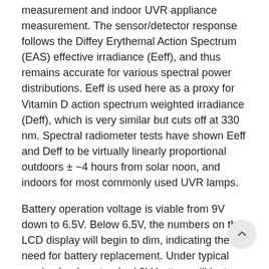measurement and indoor UVR appliance measurement. The sensor/detector response follows the Diffey Erythemal Action Spectrum (EAS) effective irradiance (Eeff), and thus remains accurate for various spectral power distributions. Eeff is used here as a proxy for Vitamin D action spectrum weighted irradiance (Deff), which is very similar but cuts off at 330 nm. Spectral radiometer tests have shown Eeff and Deff to be virtually linearly proportional outdoors ± ~4 hours from solar noon, and indoors for most commonly used UVR lamps.
Battery operation voltage is viable from 9V down to 6.5V. Below 6.5V, the numbers on the LCD display will begin to dim, indicating the need for battery replacement. Under typical service load, a standard 9V battery will last approximately 2 years.
The formula constants embedded in the UTILITY